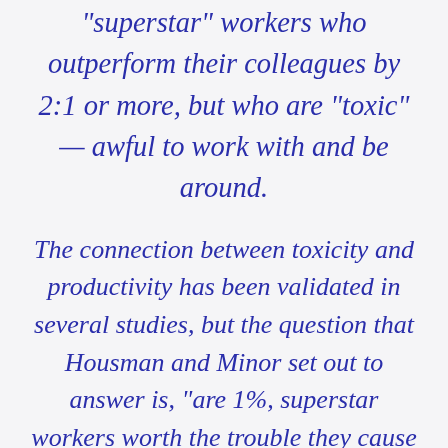"superstar" workers who outperform their colleagues by 2:1 or more, but who are "toxic" — awful to work with and be around.
The connection between toxicity and productivity has been validated in several studies, but the question that Housman and Minor set out to answer is, "are 1%, superstar workers worth the trouble they cause in the workplace?"
Using a clever empirical methodology, they demonstrate that, basically, you shouldn't work with assholes. It's better to hire two average employees than to keep...